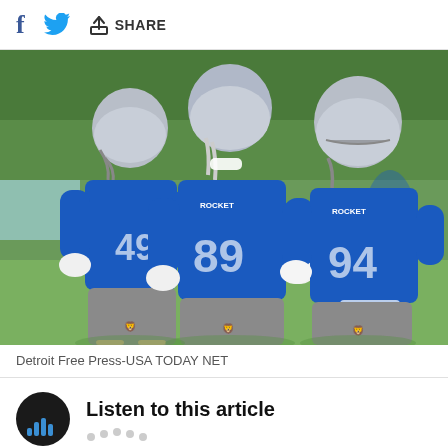Share
[Figure (photo): Three Detroit Lions players in blue jerseys and gray shorts wearing silver helmets jogging during a training camp practice. Players wearing numbers 49, 89, and 94. Green trees visible in background. Photo credit: Detroit Free Press-USA TODAY NET]
Detroit Free Press-USA TODAY NET
Listen to this article